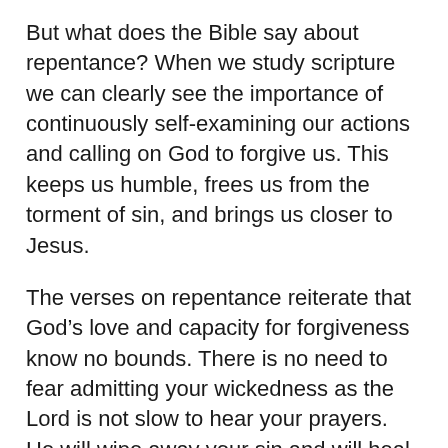But what does the Bible say about repentance? When we study scripture we can clearly see the importance of continuously self-examining our actions and calling on God to forgive us. This keeps us humble, frees us from the torment of sin, and brings us closer to Jesus.
The verses on repentance reiterate that God's love and capacity for forgiveness know no bounds. There is no need to fear admitting your wickedness as the Lord is not slow to hear your prayers. He will wipe away your sin and will heal your spirit.
When you're facing difficult times and you fear that you have strayed off of the path that God has chosen for you, turn to these scriptures on repentance to give you strength.  Here is a list of 17 scriptures on repentance. I'll also give an explanation and talk about the meaning of these bible verses.